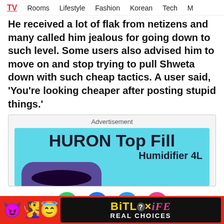TV  Rooms  Lifestyle  Fashion  Korean  Tech  M
He received a lot of flak from netizens and many called him jealous for going down to such level. Some users also advised him to move on and stop trying to pull Shweta down with such cheap tactics. A user said, 'You're looking cheaper after posting stupid things.'
[Figure (infographic): Advertisement banner for HURON Top Fill Humidifier 4L showing product image on cyan/light blue background with bold dark text]
[Figure (infographic): Social sharing icons row: WhatsApp (green), Facebook (blue), Twitter (blue), chat/message (pink). Close X button on right.]
[Figure (infographic): BitLife advertisement banner on red background with emoji characters (devil, woman, angel) and BitLife REAL CHOICES branding on black background]